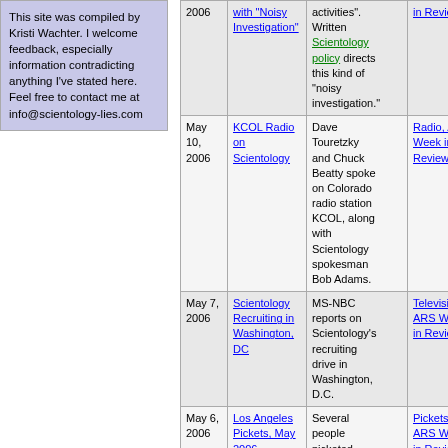This site was compiled by Kristi Wachter. I welcome feedback, especially information contradicting anything I've stated here. Feel free to contact me at info@scientology-lies.com
| Date | Link | Description | Category |
| --- | --- | --- | --- |
| 2006 (partial) | with "Noisy Investigation" | activities". Written Scientology policy directs this kind of "noisy investigation." | in Review |
| May 10, 2006 | KCOL Radio on Scientology | Dave Touretzky and Chuck Beatty spoke on Colorado radio station KCOL, along with Scientology spokesman Bob Adams. | Radio, ARS Week in Review |
| May 7, 2006 | Scientology Recruiting in Washington, DC | MS-NBC reports on Scientology's recruiting drive in Washington, D.C. | Television, ARS Week in Review |
| May 6, 2006 | Los Angeles Pickets, May 2006 | Several people picketed Scientology in Los Angeles in May 2006. | Pickets, ARS Week in Review |